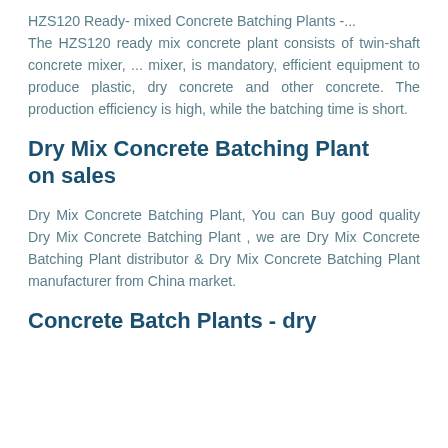HZS120 Ready- mixed Concrete Batching Plants -... The HZS120 ready mix concrete plant consists of twin-shaft concrete mixer, ... mixer, is mandatory, efficient equipment to produce plastic, dry concrete and other concrete. The production efficiency is high, while the batching time is short.
Dry Mix Concrete Batching Plant on sales
Dry Mix Concrete Batching Plant, You can Buy good quality Dry Mix Concrete Batching Plant , we are Dry Mix Concrete Batching Plant distributor & Dry Mix Concrete Batching Plant manufacturer from China market.
Concrete Batch Plants - dry